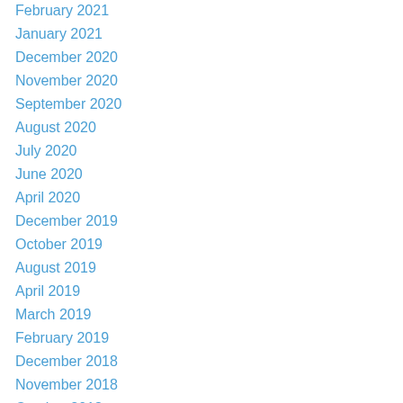February 2021
January 2021
December 2020
November 2020
September 2020
August 2020
July 2020
June 2020
April 2020
December 2019
October 2019
August 2019
April 2019
March 2019
February 2019
December 2018
November 2018
October 2018
September 2018
August 2018